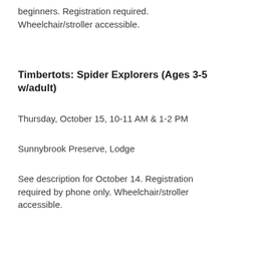beginners. Registration required. Wheelchair/stroller accessible.
Timbertots: Spider Explorers (Ages 3-5 w/adult)
Thursday, October 15, 10-11 AM & 1-2 PM
Sunnybrook Preserve, Lodge
See description for October 14. Registration required by phone only. Wheelchair/stroller accessible.